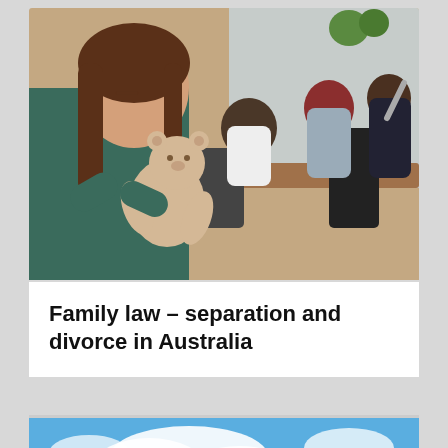[Figure (photo): A sad young girl holding a teddy bear in the foreground, with two adults (appearing to be arguing or in dispute) and a third person (possibly a lawyer or mediator) seated at a table in the background in an office or meeting room setting.]
Family law – separation and divorce in Australia
[Figure (photo): Partial view of a vehicle (appears to be a green bus or transport vehicle) against a blue sky with white clouds.]